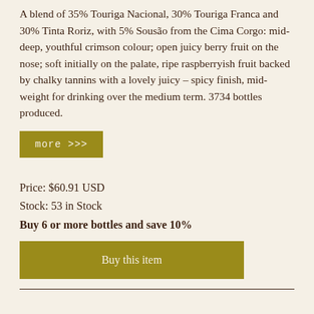A blend of 35% Touriga Nacional, 30% Touriga Franca and 30% Tinta Roriz, with 5% Sousão from the Cima Corgo: mid-deep, youthful crimson colour; open juicy berry fruit on the nose; soft initially on the palate, ripe raspberryish fruit backed by chalky tannins with a lovely juicy – spicy finish, mid-weight for drinking over the medium term. 3734 bottles produced.
more >>>
Price: $60.91 USD
Stock: 53 in Stock
Buy 6 or more bottles and save 10%
Buy this item